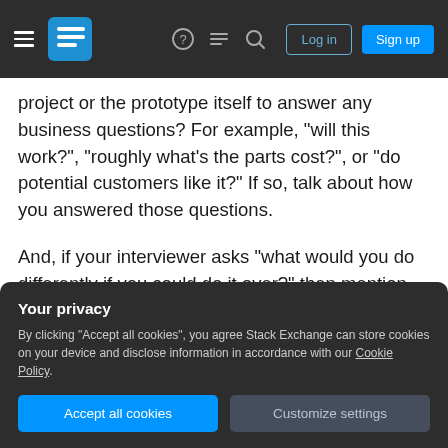Stack Exchange navigation header with hamburger menu, logo, help, chat, search icons, Log in and Sign up buttons
project or the prototype itself to answer any business questions? For example, "will this work?", "roughly what's the parts cost?", or "do potential customers like it?" If so, talk about how you answered those questions.
And, if your interviewer asks "what would you do differently if you could do it over?" then mention stuff like code reviews, and hardening up the security, and other things. That proves you have thought about the limitations of a prototype.
Your privacy
By clicking "Accept all cookies", you agree Stack Exchange can store cookies on your device and disclose information in accordance with our Cookie Policy.
Accept all cookies
Customize settings